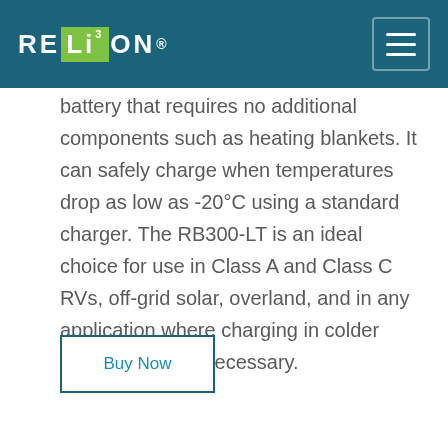RELiON
battery that requires no additional components such as heating blankets. It can safely charge when temperatures drop as low as -20°C using a standard charger. The RB300-LT is an ideal choice for use in Class A and Class C RVs, off-grid solar, overland, and in any application where charging in colder temperatures is necessary.
Buy Now